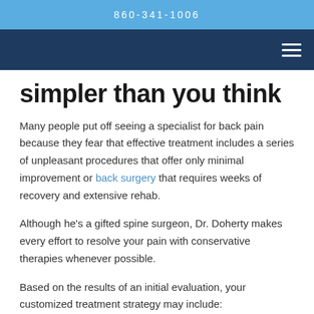860-341-1006
simpler than you think
Many people put off seeing a specialist for back pain because they fear that effective treatment includes a series of unpleasant procedures that offer only minimal improvement or back surgery that requires weeks of recovery and extensive rehab.
Although he’s a gifted spine surgeon, Dr. Doherty makes every effort to resolve your pain with conservative therapies whenever possible.
Based on the results of an initial evaluation, your customized treatment strategy may include: